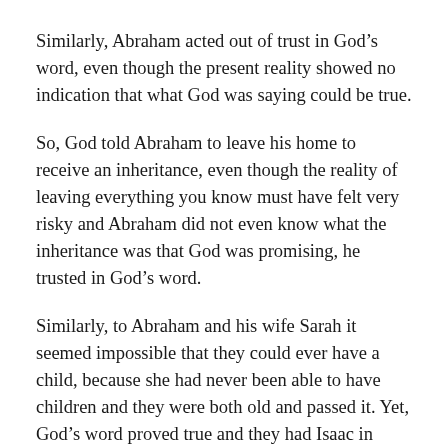Similarly, Abraham acted out of trust in God’s word, even though the present reality showed no indication that what God was saying could be true.
So, God told Abraham to leave his home to receive an inheritance, even though the reality of leaving everything you know must have felt very risky and Abraham did not even know what the inheritance was that God was promising, he trusted in God’s word.
Similarly, to Abraham and his wife Sarah it seemed impossible that they could ever have a child, because she had never been able to have children and they were both old and passed it. Yet, God’s word proved true and they had Isaac in fulfilment of God’s promise.
Why did Abraham have such faith? Because he